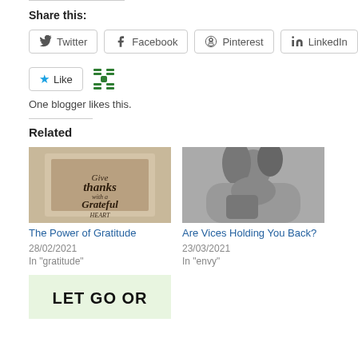Share this:
Twitter | Facebook | Pinterest | LinkedIn
[Figure (other): Like button with star icon and a blogger avatar icon. Text: One blogger likes this.]
One blogger likes this.
Related
[Figure (photo): Photo of a wooden sign saying 'Give thanks with a grateful heart']
The Power of Gratitude
28/02/2021
In "gratitude"
[Figure (photo): Black and white photo of a young woman looking down]
Are Vices Holding You Back?
23/03/2021
In "envy"
[Figure (photo): Light green background image with text LET GO OR]